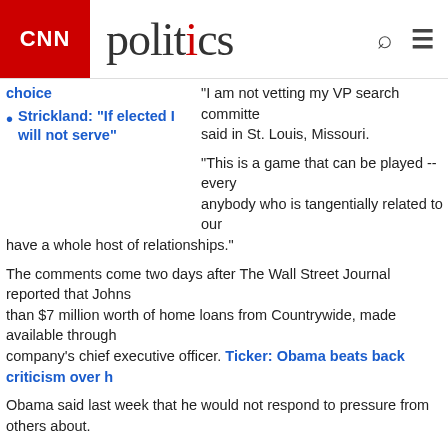CNN politics
Strickland: "If elected I will not serve"
"...I am not vetting my VP search committee," said in St. Louis, Missouri.
"This is a game that can be played -- every... anybody who is tangentially related to our... have a whole host of relationships."
The comments come two days after The Wall Street Journal reported that Johns... than $7 million worth of home loans from Countrywide, made available through... company's chief executive officer. Ticker: Obama beats back criticism over h...
Obama said last week that he would not respond to pressure from others about...
"We have a committee that's made up of wonderful people. They are going to ge... vet and get recommendations. I will meet with a range of a people, and I will ulti... iReport.com: Who should Obama, McCain pick?
"I am a big believer in making decisions well, not making them fast and not resp...
Although Obama's campaign has not released the names of any front-runners fo... lot of speculation about who he will pick.
Sen. Hillary Clinton, whose tenacious refusal to surrender the nomination conte... into one of the most nail-biting in modern U.S. political history, has indicated tha... up on a joint ticket.
Other possible front-runners include former presidential hopefuls Joe Biden, Ch... John Edwards.